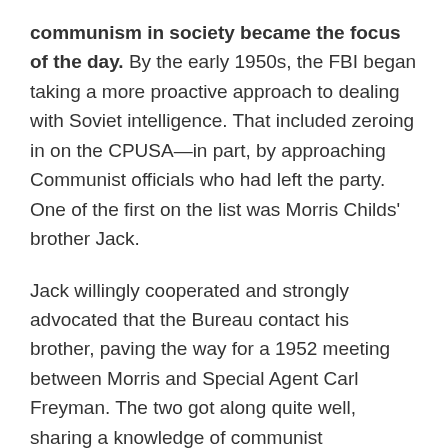communism in society became the focus of the day. By the early 1950s, the FBI began taking a more proactive approach to dealing with Soviet intelligence. That included zeroing in on the CPUSA—in part, by approaching Communist officials who had left the party. One of the first on the list was Morris Childs' brother Jack.
Jack willingly cooperated and strongly advocated that the Bureau contact his brother, paving the way for a 1952 meeting between Morris and Special Agent Carl Freyman. The two got along quite well, sharing a knowledge of communist philosophy and an interest in wider intellectual and cultural issues.
After several meetings, Childs agreed to return to the CPUSA as an informant for the FBI. With the assistance of Jack, the Bureau helped Morris rehabilitate both his health and his role